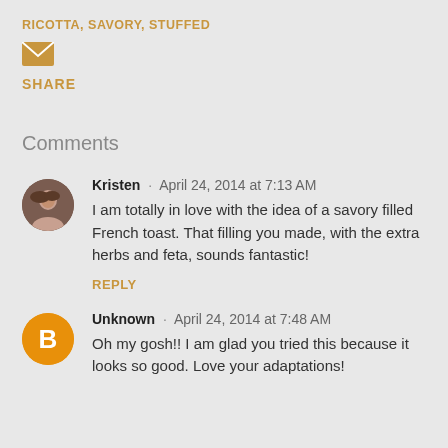RICOTTA, SAVORY, STUFFED
[Figure (illustration): Email/share envelope icon in golden-orange color]
SHARE
Comments
Kristen · April 24, 2014 at 7:13 AM
I am totally in love with the idea of a savory filled French toast. That filling you made, with the extra herbs and feta, sounds fantastic!
REPLY
Unknown · April 24, 2014 at 7:48 AM
Oh my gosh!! I am glad you tried this because it looks so good. Love your adaptations!